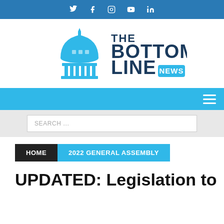Social media icons: Twitter, Facebook, Instagram, YouTube, LinkedIn
[Figure (logo): The Bottom Line News logo with capitol building dome icon in blue and navy text]
[Figure (infographic): Light blue navigation bar with hamburger menu icon on the right]
SEARCH ...
HOME
2022 GENERAL ASSEMBLY
UPDATED: Legislation to